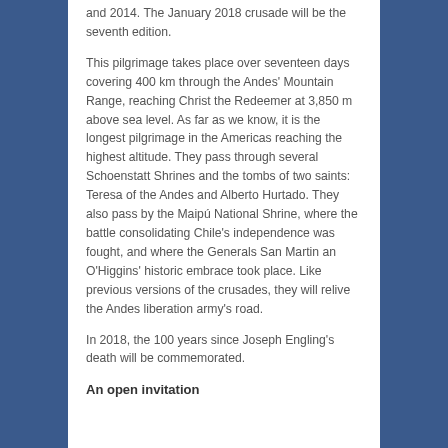and 2014. The January 2018 crusade will be the seventh edition.
This pilgrimage takes place over seventeen days covering 400 km through the Andes' Mountain Range, reaching Christ the Redeemer at 3,850 m above sea level. As far as we know, it is the longest pilgrimage in the Americas reaching the highest altitude. They pass through several Schoenstatt Shrines and the tombs of two saints: Teresa of the Andes and Alberto Hurtado. They also pass by the Maipú National Shrine, where the battle consolidating Chile's independence was fought, and where the Generals San Martin an O'Higgins' historic embrace took place. Like previous versions of the crusades, they will relive the Andes liberation army's road.
In 2018, the 100 years since Joseph Engling's death will be commemorated.
An open invitation